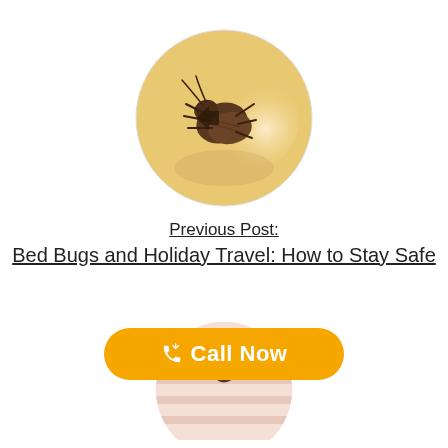[Figure (photo): Circular cropped photo of a bed bug insect on a white/yellow blurred background]
Previous Post:
Bed Bugs and Holiday Travel: How to Stay Safe
[Figure (photo): Circular cropped photo of a mite or small insect on pink/white striped background, partially visible]
Call Now